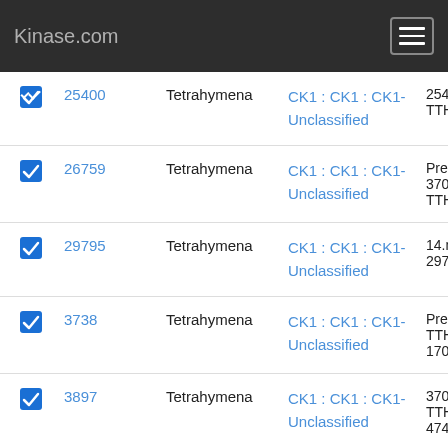Kinase.com
|  | ID | Organism | Classification | Details |
| --- | --- | --- | --- | --- |
| ✓ | 25400 | Tetrahymena | CK1 : CK1 : CK1-Unclassified | 25400 TTHER... |
| ✓ | 26759 | Tetrahymena | CK1 : CK1 : CK1-Unclassified | PreTt2 3702.m. TTHER... |
| ✓ | 29795 | Tetrahymena | CK1 : CK1 : CK1-Unclassified | 14.m0 29795... |
| ✓ | 3738 | Tetrahymena | CK1 : CK1 : CK1-Unclassified | PreTt0 TTHER 170.m... |
| ✓ | 3897 | Tetrahymena | CK1 : CK1 : CK1-Unclassified | 3704.m. TTHER 474, 3... |
| ✓ | 4546 | Tetrahymena | CK1 : CK1 : CK1- | 265.m... TTHER... |